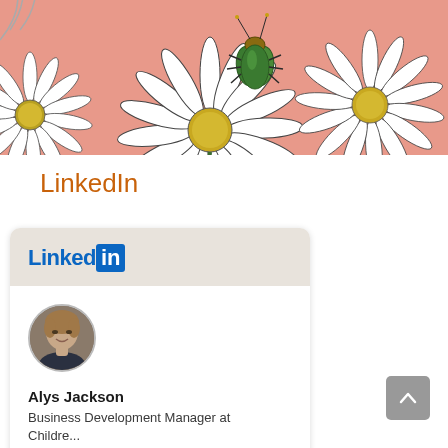[Figure (illustration): Botanical illustration on pink/salmon background showing white daisy flowers with yellow centers and a large metallic green and gold beetle sitting on one of the flowers.]
LinkedIn
[Figure (screenshot): LinkedIn profile card showing the LinkedIn logo, a circular profile photo of a middle-aged woman with light brown hair, the name 'Alys Jackson', and the title 'Business Development Manager at Children's University or the like'.]
Alys Jackson
Business Development Manager at Children's University or the...